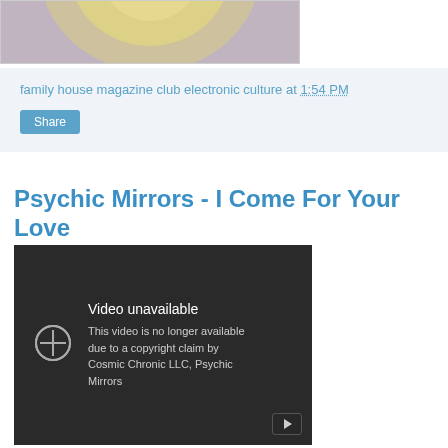[Figure (photo): Partial view of a circular disc or album cover against a pink/grey background]
family house magazine club electronic culture at 1:54 PM
Share
Psychic Mirrors - I Come For Your Love
[Figure (screenshot): Embedded YouTube video showing error: Video unavailable. This video is no longer available due to a copyright claim by Cosmic Chronic LLC, Psychic Mirrors]